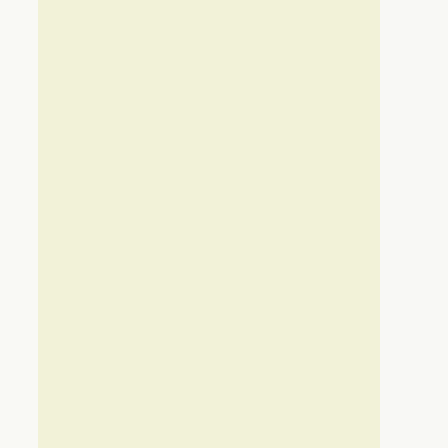Python, my version I tested on is ActivePython 2.7.1.3. It should work in 3+ (though I could have used the //